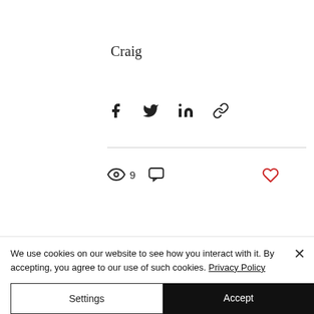Craig
[Figure (infographic): Social share icons: Facebook, Twitter, LinkedIn, Link]
[Figure (infographic): Stats row: eye icon with count 9, comment bubble icon. Heart/like icon on the right (red outline).]
Recent Posts
See All
[Figure (photo): Partial photos of blog posts: left edge dark interior, center outdoor scene with trees and people, right edge grey]
We use cookies on our website to see how you interact with it. By accepting, you agree to our use of such cookies. Privacy Policy
Settings
Accept